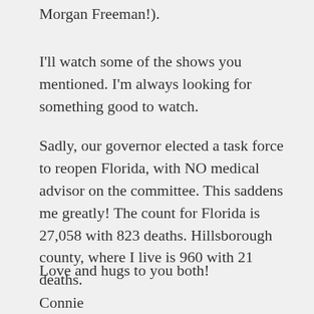Morgan Freeman!).
I'll watch some of the shows you mentioned. I'm always looking for something good to watch.
Sadly, our governor elected a task force to reopen Florida, with NO medical advisor on the committee. This saddens me greatly! The count for Florida is 27,058 with 823 deaths. Hillsborough county, where I live is 960 with 21 deaths.
Love and hugs to you both!
Connie